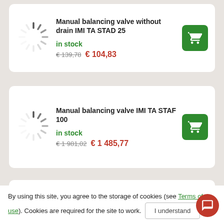[Figure (illustration): Loading spinner icon (gray radial lines)]
Manual balancing valve without drain IMI TA STAD 25
in stock
€139,78  €104,83
[Figure (illustration): Loading spinner icon (gray radial lines)]
Manual balancing valve IMI TA STAF 100
in stock
€1 981,02  €1 485,77
Manual balancing valve IMI TA STAF 65
By using this site, you agree to the storage of cookies (see Terms of use). Cookies are required for the site to work.